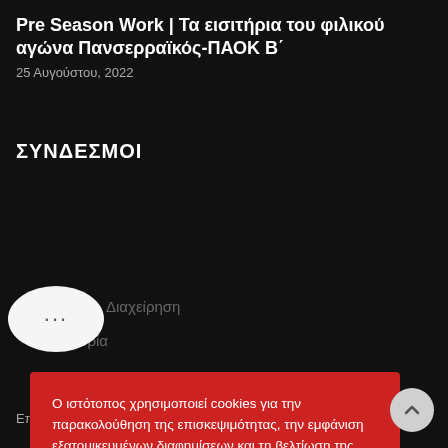Pre Season Work | Τα εισιτήρια του φιλικού αγώνα Πανσερραϊκός-ΠΑΟΚ Β΄
25 Αυγούστου, 2022
ΣΥΝΔΕΣΜΟΙ
[Figure (other): Chat bubble overlay with ellipsis dots covering partially visible navigation links Διαχείρηση and Ιστορία]
Ο ιστότοπος χρησιμοποιεί cookies για την παρακολούθηση της επισκεψιμότητας, την εμφάνιση εξατομικευμένων διαφημίσεων και τη βελτίωση της εμπειρίας των χρηστών. Διαβάστε περισσότερα στην Πολιτική Προστασίας
ΑΠΟΔΟΧΗ
ΑΠΟΡΡΙΨΗ
Επιτελείο Ομαδας